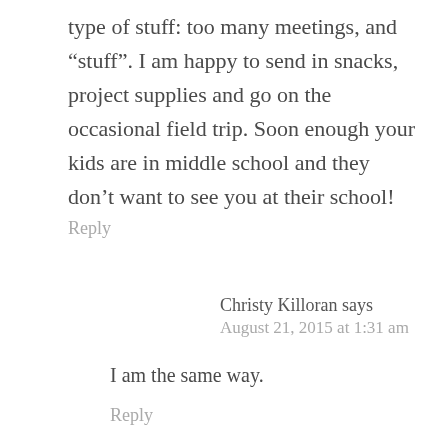type of stuff: too many meetings, and "stuff". I am happy to send in snacks, project supplies and go on the occasional field trip. Soon enough your kids are in middle school and they don't want to see you at their school!
Reply
Christy Killoran says
August 21, 2015 at 1:31 am
I am the same way.
Reply